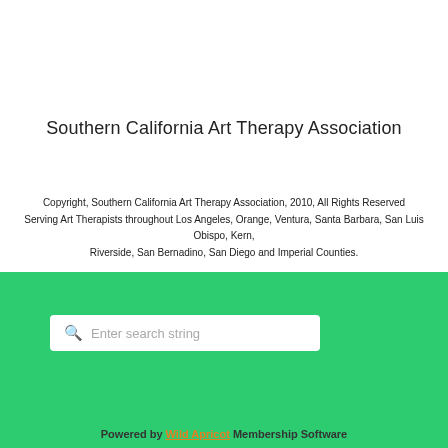Southern California Art Therapy Association
Copyright, Southern California Art Therapy Association, 2010, All Rights Reserved
Serving Art Therapists throughout Los Angeles, Orange, Ventura, Santa Barbara, San Luis Obispo, Kern,
Riverside, San Bernadino, San Diego and Imperial Counties.
[Figure (screenshot): Green search bar with white search box containing placeholder text 'Enter search string' and a search icon]
Powered by Wild Apricot Membership Software